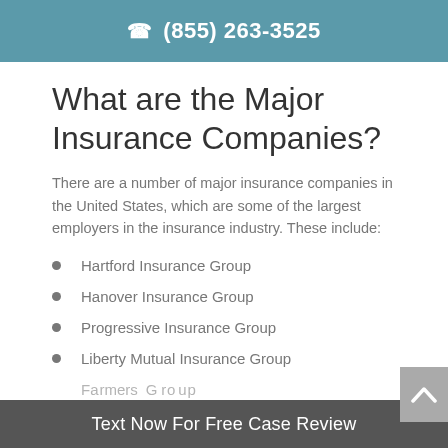(855) 263-3525
What are the Major Insurance Companies?
There are a number of major insurance companies in the United States, which are some of the largest employers in the insurance industry. These include:
Hartford Insurance Group
Hanover Insurance Group
Progressive Insurance Group
Liberty Mutual Insurance Group
Text Now For Free Case Review